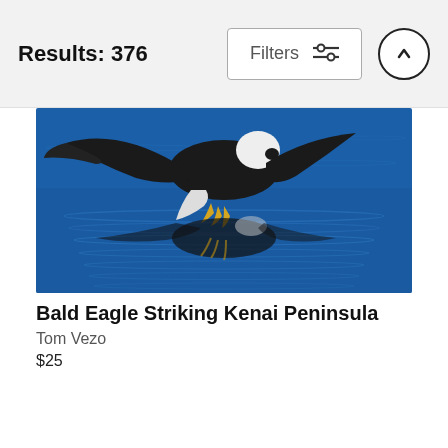Results: 376
[Figure (screenshot): Filters button with sliders icon and up-arrow circle button in top bar]
[Figure (photo): Bald eagle striking water on Kenai Peninsula, wings spread wide, with reflection below, blue water background]
Bald Eagle Striking Kenai Peninsula
Tom Vezo
$25